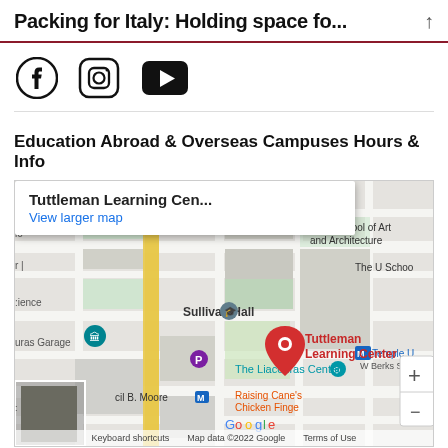Packing for Italy: Holding space fo...
[Figure (other): Social media icons: Facebook, Instagram, YouTube]
Education Abroad & Overseas Campuses Hours & Info
[Figure (map): Google Map showing Tuttleman Learning Center at Temple University campus. Popup shows 'Tuttleman Learning Cen...' and 'View larger map'. Map shows Sullivan Hall, Tyler School of Art and Architecture, The U Schoo, The Liacouras Center, Temple University metro stop, Raising Cane's Chicken Finge, uras Garage, Cecil B. Moore metro stop. Map data ©2022 Google, Terms of Use, Keyboard shortcuts.]
Temple University
000 Tuttleman Learning Center